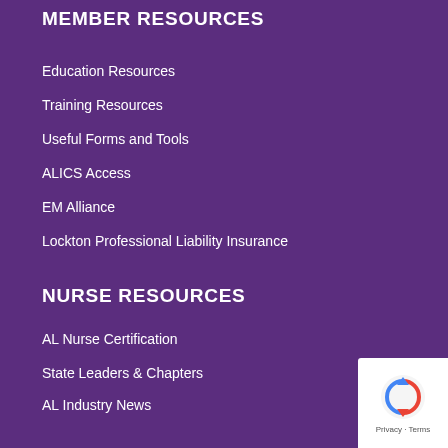MEMBER RESOURCES
Education Resources
Training Resources
Useful Forms and Tools
ALICS Access
EM Alliance
Lockton Professional Liability Insurance
NURSE RESOURCES
AL Nurse Certification
State Leaders & Chapters
AL Industry News
Career Center
Webinars / Videos